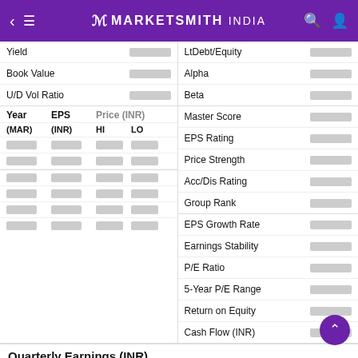MarketSmith India
| Label | Value |
| --- | --- |
| Yield |  |
| Book Value |  |
| U/D Vol Ratio |  |
| Year (MAR) | EPS (INR) | HI | LO |
| --- | --- | --- | --- |
|  |  |  |  |
|  |  |  |  |
|  |  |  |  |
|  |  |  |  |
|  |  |  |  |
|  |  |  |  |
| Label | Value |
| --- | --- |
| LtDebt/Equity |  |
| Alpha |  |
| Beta |  |
| Master Score |  |
| EPS Rating |  |
| Price Strength |  |
| Acc/Dis Rating |  |
| Group Rank |  |
| EPS Growth Rate |  |
| Earnings Stability |  |
| P/E Ratio |  |
| 5-Year P/E Range |  |
| Return on Equity |  |
| Cash Flow (INR) |  |
Quarterly Earnings (INR)
| Date(Transcript) | EPS | %Chg | Sales(Cr) | %Chg |
| --- | --- | --- | --- | --- |
|  |  |  |  |  |